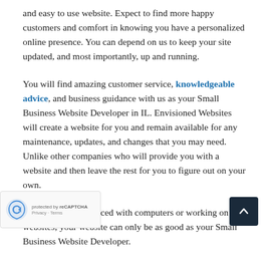and easy to use website. Expect to find more happy customers and comfort in knowing you have a personalized online presence. You can depend on us to keep your site updated, and most importantly, up and running.
You will find amazing customer service, knowledgeable advice, and business guidance with us as your Small Business Website Developer in IL. Envisioned Websites will create a website for you and remain available for any maintenance, updates, and changes that you may need. Unlike other companies who will provide you with a website and then leave the rest for you to figure out on your own.
If you are inexperienced with computers or working on websites, your website can only be as good as your Small Business Website Developer.